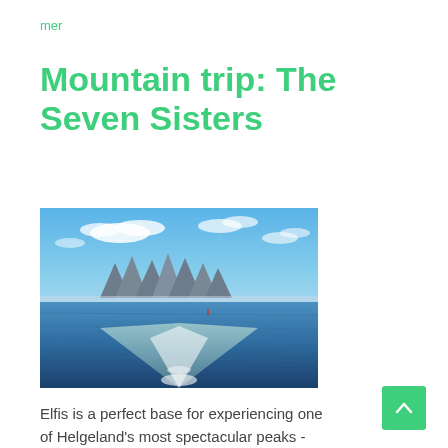mer
Mountain trip: The Seven Sisters
[Figure (photo): Scenic view from a ferry boat looking back at the wake trail on calm blue water, with the Seven Sisters mountain peaks visible in the distance under a partly cloudy blue sky.]
Elfis is a perfect base for experiencing one of Helgeland's most spectacular peaks - The Seven Sisters. Take the ferry to Søvik and there are only a few hundred meters